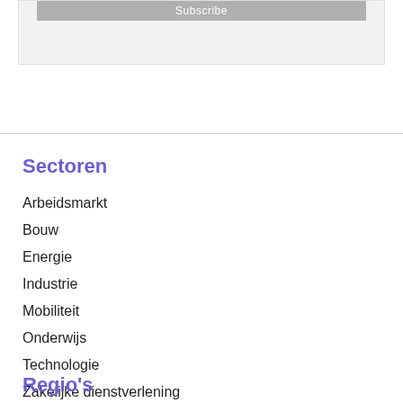Sectoren
Arbeidsmarkt
Bouw
Energie
Industrie
Mobiliteit
Onderwijs
Technologie
Zakelijke dienstverlening
Regio's